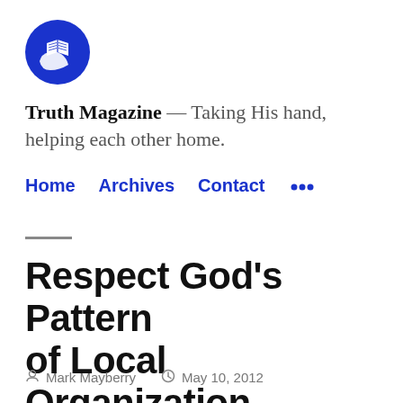[Figure (logo): Truth Magazine logo: blue circle with open book and hand icon]
Truth Magazine — Taking His hand, helping each other home.
Home  Archives  Contact
Respect God's Pattern of Local Organization
Mark Mayberry  May 10, 2012